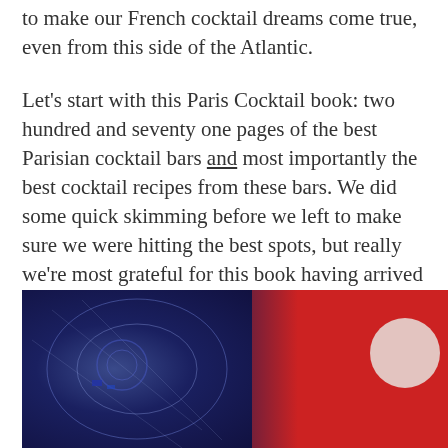to make our French cocktail dreams come true, even from this side of the Atlantic.
Let's start with this Paris Cocktail book: two hundred and seventy one pages of the best Parisian cocktail bars and most importantly the best cocktail recipes from these bars. We did some quick skimming before we left to make sure we were hitting the best spots, but really we're most grateful for this book having arrived home. You can expect to see many recipes from this book featured over the next several months as we try to drink our way back to France.
[Figure (photo): Photo of the Paris Cocktails book (red cover with PARIS COCKTAILS text and a triangular design) alongside blue-lit ambiance objects]